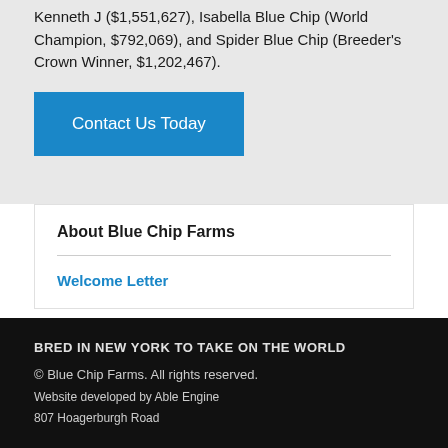Kenneth J ($1,551,627), Isabella Blue Chip (World Champion, $792,069), and Spider Blue Chip (Breeder's Crown Winner, $1,202,467).
Contact Us Today
About Blue Chip Farms
Welcome Letter
BRED IN NEW YORK TO TAKE ON THE WORLD
© Blue Chip Farms. All rights reserved.
Website developed by Able Engine
807 Hoagerburgh Road